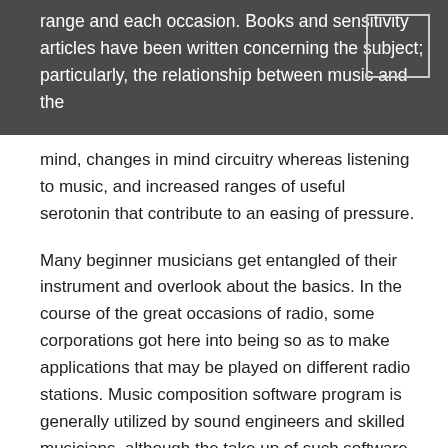range and each occasion. Books and sensitivity articles have been written concerning the subject; particularly, the relationship between music and the mind, changes in mind circuitry whereas listening to music, and increased ranges of useful serotonin that contribute to an easing of pressure.
Many beginner musicians get entangled of their instrument and overlook about the basics. In the course of the great occasions of radio, some corporations got here into being so as to make applications that may be played on different radio stations. Music composition software program is generally utilized by sound engineers and skilled musicians, although the take up of such software program amongst budding musicians and music aficionados has increased.